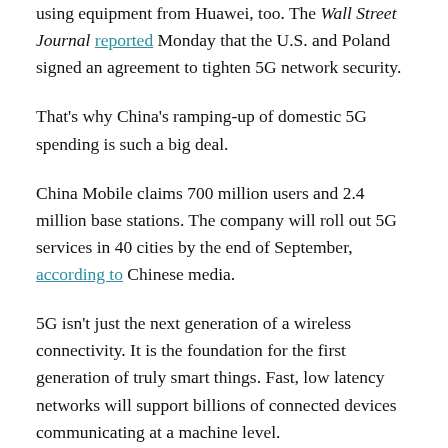using equipment from Huawei, too. The Wall Street Journal reported Monday that the U.S. and Poland signed an agreement to tighten 5G network security.
That's why China's ramping-up of domestic 5G spending is such a big deal.
China Mobile claims 700 million users and 2.4 million base stations. The company will roll out 5G services in 40 cities by the end of September, according to Chinese media.
5G isn't just the next generation of a wireless connectivity. It is the foundation for the first generation of truly smart things. Fast, low latency networks will support billions of connected devices communicating at a machine level.
Factories, cars and city infrastructures will share